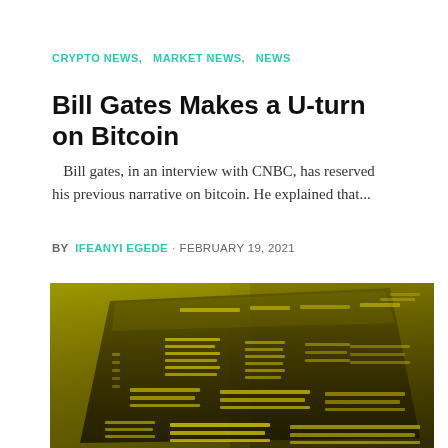CRYPTO NEWS,   MARKET NEWS,   NEWS
Bill Gates Makes a U-turn on Bitcoin
Bill gates, in an interview with CNBC, has reserved his previous narrative on bitcoin. He explained that...
BY IFEANYI EGEDE · FEBRUARY 19, 2021
[Figure (photo): Yellow-tinted photo of a laptop or monitor screen displaying code or data in bright yellow text on a dark background, shot at an angle.]